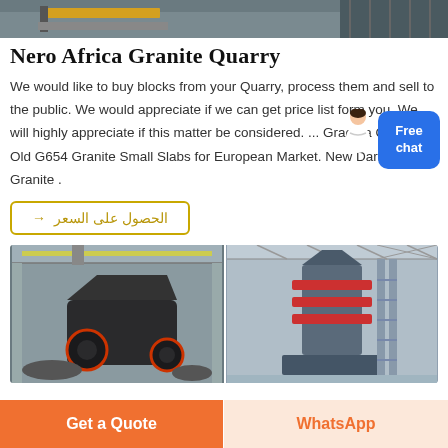[Figure (photo): Top banner image showing industrial/quarry machinery in a warehouse setting with yellow crane elements]
Nero Africa Granite Quarry
We would like to buy blocks from your Quarry, process them and sell to the public. We would appreciate if we can get price list form you. We will highly appreciate if this matter be considered. ... Grade a Quality Old G654 Granite Small Slabs for European Market. New Dark Grey Granite .
الحصول على السعر ←
[Figure (photo): Two photos of industrial crushing/grinding machinery in factory floors side by side]
Get a Quote
WhatsApp